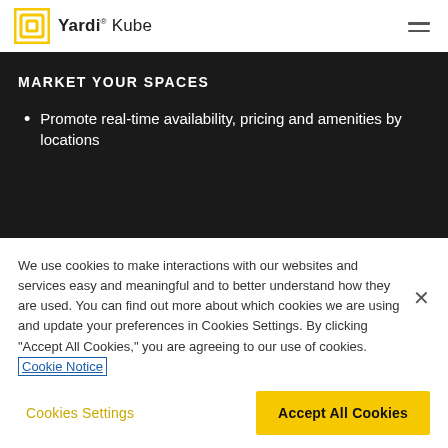Yardi Kube
MARKET YOUR SPACES
Promote real-time availability, pricing and amenities by locations
We use cookies to make interactions with our websites and services easy and meaningful and to better understand how they are used. You can find out more about which cookies we are using and update your preferences in Cookies Settings. By clicking “Accept All Cookies,” you are agreeing to our use of cookies. Cookie Notice
Cookies Settings
Accept All Cookies